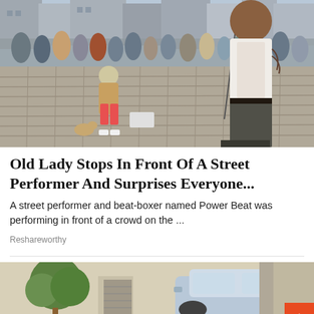[Figure (photo): Street performer Power Beat performing on cobblestone square with crowd watching; an old lady with a small dog stands nearby, performer in white sleeveless shirt with tattoo holds microphone on the right]
Old Lady Stops In Front Of A Street Performer And Surprises Everyone...
A street performer and beat-boxer named Power Beat was performing in front of a crowd on the ...
Reshareworthy
[Figure (photo): Second article image showing a car in a driveway with a topiary bush and building exterior visible]